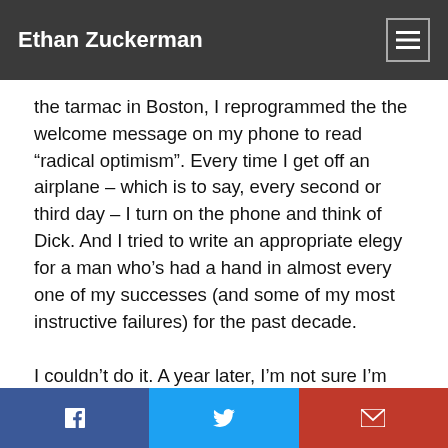Ethan Zuckerman
the tarmac in Boston, I reprogrammed the the welcome message on my phone to read “radical optimism”. Every time I get off an airplane – which is to say, every second or third day – I turn on the phone and think of Dick. And I tried to write an appropriate elegy for a man who’s had a hand in almost every one of my successes (and some of my most instructive failures) for the past decade.
I couldn’t do it. A year later, I’m not sure I’m any closer to being able to properly honor his memory or celebrate his life.
After Dick’s death, I found myself wondering whether I should try to find another mentor. I could see my mentor’s
Facebook | Twitter | Email